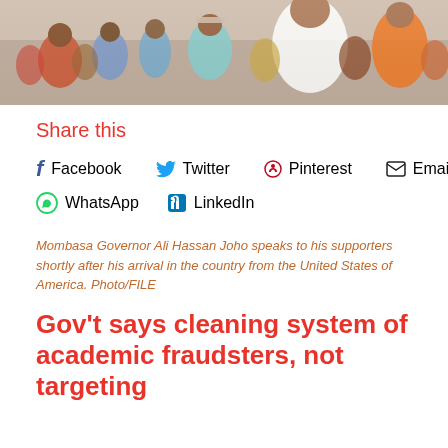[Figure (photo): Crowd of people at a public event; man in white shirt and hat prominent in foreground]
Share this
Facebook  Twitter  Pinterest  Email  WhatsApp  LinkedIn
Mombasa Governor Ali Hassan Joho speaks to his supporters shortly after his arrival in the country from the United States of America. Photo/FILE
Gov't says cleaning system of academic fraudsters, not targeting